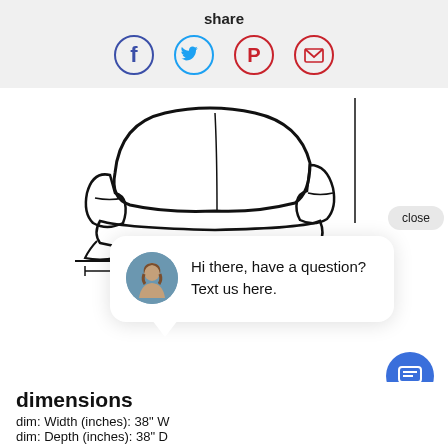share
[Figure (infographic): Social share icons: Facebook (dark blue circle), Twitter (light blue circle), Pinterest (red circle), Email (red circle)]
[Figure (illustration): Line drawing of a recliner sofa/chair with width dimension marker (W) at the bottom, and a vertical line on the right side]
close
Hi there, have a question? Text us here.
dimensions
dim: Width (inches): 38" W
dim: Depth (inches): 38" D